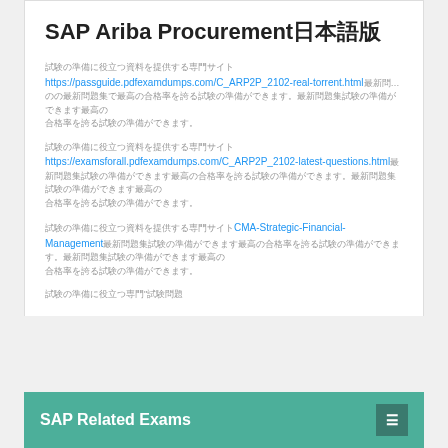SAP Ariba Procurement日本語版
試験の準備に役立つ資料を提供する専門サイト https://passguide.pdfexamdumps.com/C_ARP2P_2102-real-torrent.html最新問…のの最新問題集で最高の合格率を誇る試験の準備ができます。
試験の準備に役立つ資料を提供する専門サイト https://examsforall.pdfexamdumps.com/C_ARP2P_2102-latest-questions.html最新問題集試験の準備ができます最高の合格率を誇る試験の準備ができます。
試験の準備に役立つ資料を提供する専門サイトCMA-Strategic-Financial-Management最新問題集試験の準備ができます最高の合格率を誇る試験の準備ができます。
試験の準備に役立つ専門"試験問題
SAP Related Exams